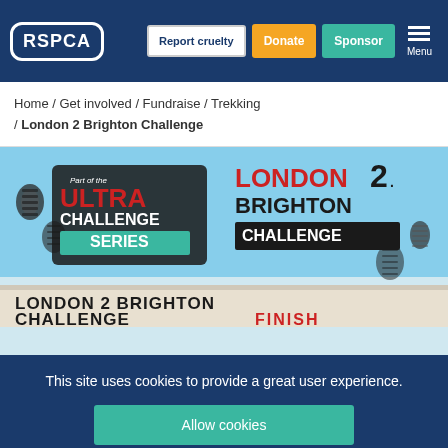RSPCA | Report cruelty | Donate | Sponsor | Menu
Home / Get involved / Fundraise / Trekking / London 2 Brighton Challenge
[Figure (photo): London 2 Brighton Challenge event banner image showing finish line tape with text 'LONDON 2 BRIGHTON CHALLENGE FINISH' and 'Part of the ULTRA CHALLENGE SERIES' logo on left, and 'LONDON 2. BRIGHTON CHALLENGE' logo on right, against a light blue sky background with boot print marks.]
This site uses cookies to provide a great user experience.
Allow cookies
Find out more about how we use cookies.